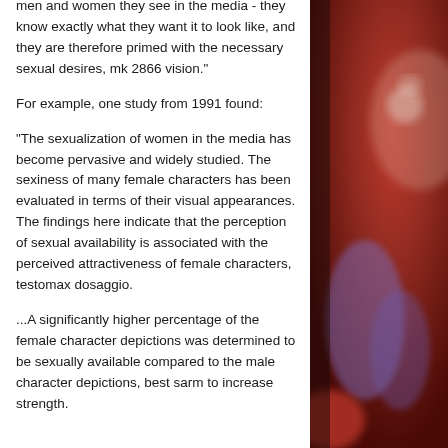men and women they see in the media - they know exactly what they want it to look like, and they are therefore primed with the necessary sexual desires, mk 2866 vision."
For example, one study from 1991 found:
"The sexualization of women in the media has become pervasive and widely studied. The sexiness of many female characters has been evaluated in terms of their visual appearances. The findings here indicate that the perception of sexual availability is associated with the perceived attractiveness of female characters, testomax dosaggio.
...A significantly higher percentage of the female character depictions was determined to be sexually available compared to the male character depictions, best sarm to increase strength.
[Figure (photo): Blurred photo showing people in a warm reddish-brown toned setting, partially visible on the right side of the page.]